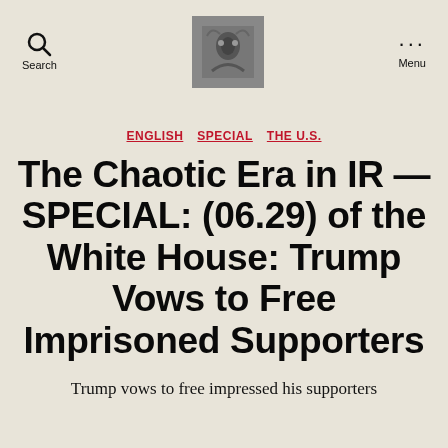Search | [Logo] | Menu
ENGLISH  SPECIAL  THE U.S.
The Chaotic Era in IR — SPECIAL: (06.29) of the White House: Trump Vows to Free Imprisoned Supporters
Trump vows to free impressed his supporters